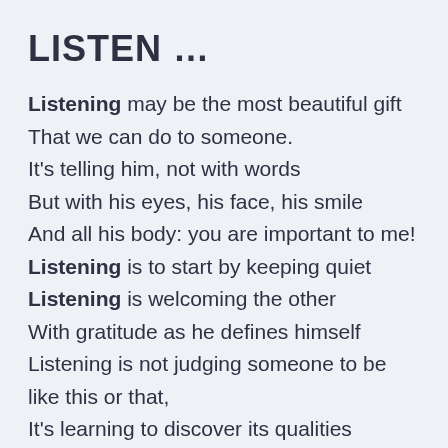LISTEN …
Listening may be the most beautiful gift
That we can do to someone.
It's telling him, not with words
But with his eyes, his face, his smile
And all his body: you are important to me!
Listening is to start by keeping quiet
Listening is welcoming the other
With gratitude as he defines himself
Listening is not judging someone to be like this or that,
It's learning to discover its qualities